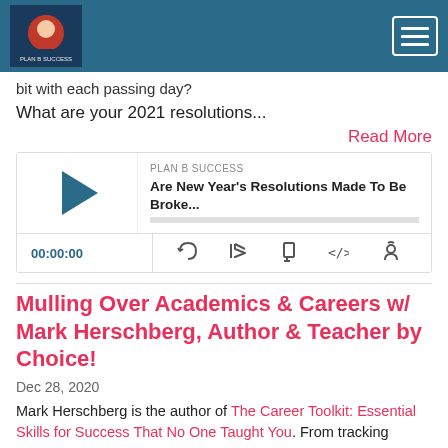Plan B Success podcast header with logo and hamburger menu
bit with each passing day?
What are your 2021 resolutions...
Read More
[Figure (screenshot): Podcast player widget for 'Are New Year's Resolutions Made To Be Broke...' from PLAN B SUCCESS, with play button, time 00:00:00, and media control icons]
Mulling Over Academics & Careers w/ Mark Herschberg, Author & Teacher by Choice!
Dec 28, 2020
Mark Herschberg is the author of The Career Toolkit: Essential Skills for Success That No One Taught You. From tracking